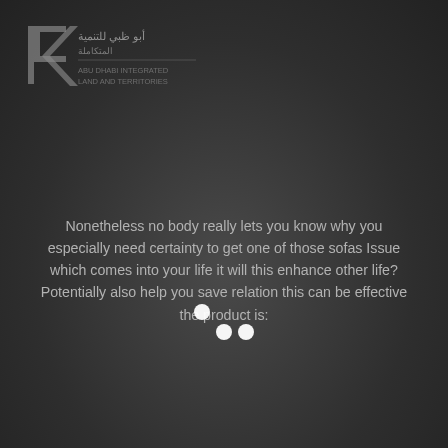[Figure (logo): Organization logo with Arabic text and stylized graphic mark in top left, partially visible on dark background]
Nonetheless no body really lets you know why you especially need certainty to get one of those sofas Issue which comes into your life it will this enhance other life? Potentially also help you save relation this can be effective the product is:
Making love is among the best experiences a lot of us will have inside our life. Nonetheless it will get very boring if things aren't changed this frequently. This means which you can’t simply have sexual intercourse within the position that is same time.